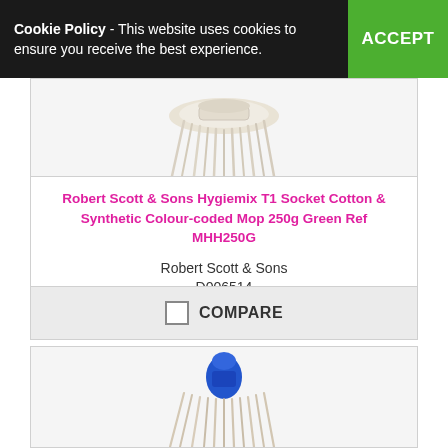Cookie Policy - This website uses cookies to ensure you receive the best experience. ACCEPT
[Figure (photo): Partial view of a mop head (white/cream coloured) at the top of a product card]
Robert Scott & Sons Hygiemix T1 Socket Cotton & Synthetic Colour-coded Mop 250g Green Ref MHH250G
Robert Scott & Sons
D006514
-
COMPARE
[Figure (photo): Partial view of a blue mop head at the top of a second product card]